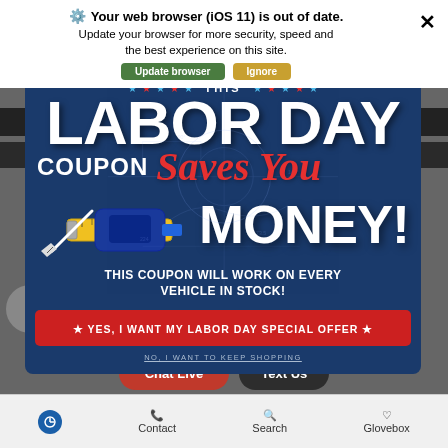Your web browser (iOS 11) is out of date. Update your browser for more security, speed and the best experience on this site.
[Figure (screenshot): Labor Day Coupon popup advertisement on a car dealership website. Dark blue background with blueprint-style technical drawings. Stars in red and blue across the top. Large white bold text reading 'THIS LABOR DAY COUPON' with red cursive script 'Saves You' overlapping. Large white bold 'MONEY!' text. Image of tape measure tools. Text: 'THIS COUPON WILL WORK ON EVERY VEHICLE IN STOCK!'. Red banner: '★ YES, I WANT MY LABOR DAY SPECIAL OFFER ★'. Link: 'NO, I WANT TO KEEP SHOPPING'.]
THIS COUPON WILL WORK ON EVERY VEHICLE IN STOCK!
★ YES, I WANT MY LABOR DAY SPECIAL OFFER ★
NO, I WANT TO KEEP SHOPPING
Chat Live
Text Us
Contact
Search
Glovebox